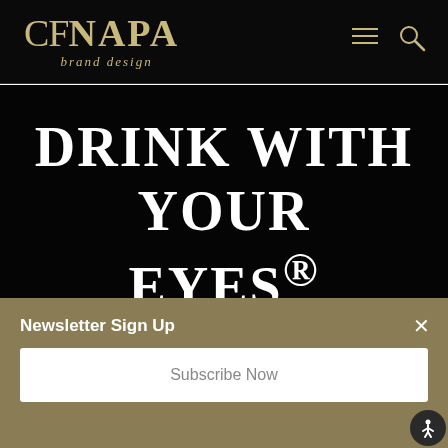CF NAPA brand design
DRINK WITH YOUR EYES®
[Figure (screenshot): Partial view of wine bottle images at the bottom of the dark hero section]
Newsletter Sign Up
Subscribe Now